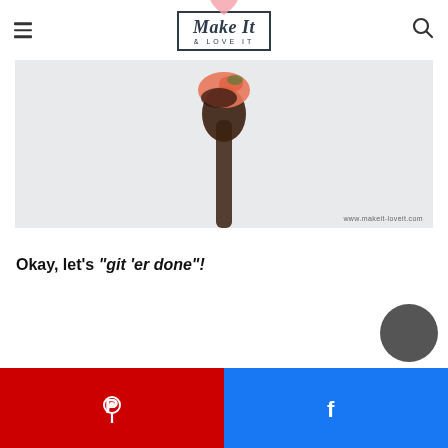Make It & Love It — navigation header with hamburger menu and search icon
[Figure (photo): A fork with food (appears to be a piece of fish or meat with chocolate/dark sauce) photographed against a light grey background. Watermark: www.makeit-loveit.com]
Okay, let's "git 'er done"!
[Figure (other): Pinterest share button (red background with white Pinterest P icon)]
[Figure (other): Facebook share button (blue background with white Facebook f icon)]